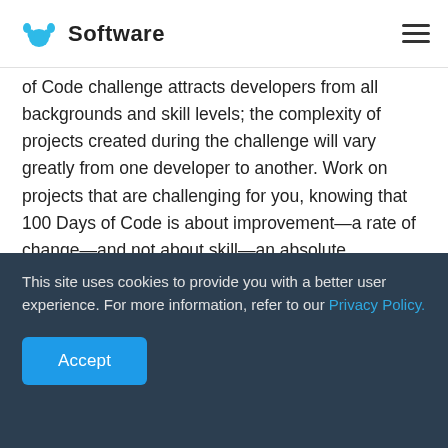Software
of Code challenge attracts developers from all backgrounds and skill levels; the complexity of projects created during the challenge will vary greatly from one developer to another. Work on projects that are challenging for you, knowing that 100 Days of Code is about improvement—a rate of change—and not about skill—an absolute measurement. To be a strong community member, you should support other
This site uses cookies to provide you with a better user experience. For more information, refer to our Privacy Policy.
Accept